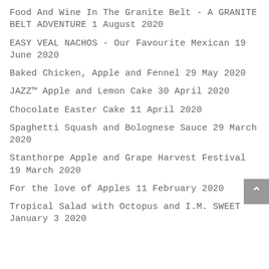Food And Wine In The Granite Belt - A GRANITE BELT ADVENTURE 1 August 2020
EASY VEAL NACHOS - Our Favourite Mexican 19 June 2020
Baked Chicken, Apple and Fennel 29 May 2020
JAZZ™ Apple and Lemon Cake 30 April 2020
Chocolate Easter Cake 11 April 2020
Spaghetti Squash and Bolognese Sauce 29 March 2020
Stanthorpe Apple and Grape Harvest Festival 19 March 2020
For the love of Apples 11 February 2020
Tropical Salad with Octopus and I.M. SWEET January 3 2020